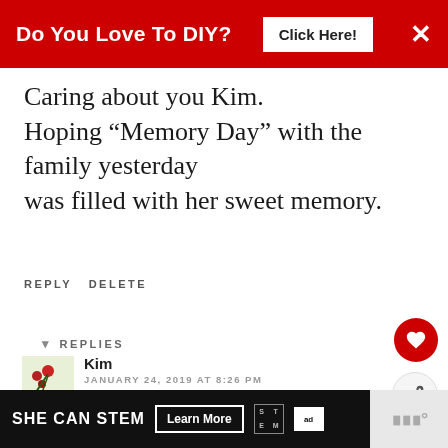[Figure (infographic): Red advertisement banner at top: 'Do You Love To DIY? Click Here!' with X close button]
Caring about you Kim. Hoping “Memory Day” with the family yesterday was filled with her sweet memory.
REPLY DELETE
▾ REPLIES
Kim
JANUARY 24, 2019 AT 8:26 PM
Thank you so Lynne....big hugs. ♥
[Figure (infographic): What's Next sidebar with green circle photo and text 'Gathering Summer']
[Figure (infographic): Bottom ad banner: SHE CAN STEM Learn More, with STEM and Ad Council logos]